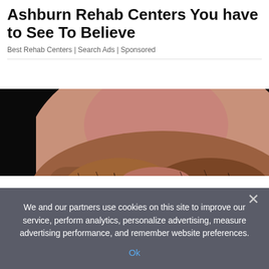Ashburn Rehab Centers You have to See To Believe
Best Rehab Centers | Search Ads | Sponsored
[Figure (photo): Close-up photo of a man's mouth and nose showing white dental veneers/teeth with reddish-brown stubble beard, against a black background]
We and our partners use cookies on this site to improve our service, perform analytics, personalize advertising, measure advertising performance, and remember website preferences.
Ok